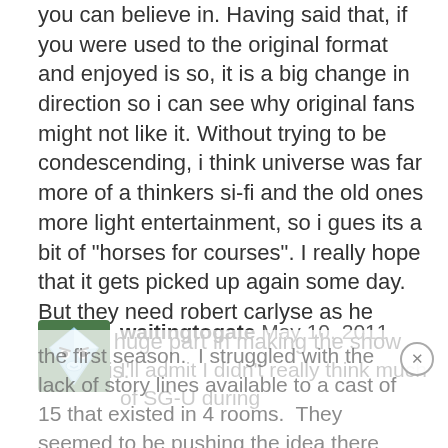you can believe in. Having said that, if you were used to the original format and enjoyed is so, it is a big change in direction so i can see why original fans might not like it. Without trying to be condescending, i think universe was far more of a thinkers si-fi and the old ones more light entertainment, so i gues its a bit of "horses for courses". I really hope that it gets picked up again some day. But they need robert carlyse as he plays a huge part in making the show what it is.
Log in to Reply
waitingtogate May 10, 2011
[Figure (illustration): Avatar image: a cartoon diamond/gem shape character with eyes and a muzzle, blue and green coloring, on a dark green background]
I'll admit I didn't really think much of SG-U during
the first season.  I struggled with the lack of story lines available to a cast of 15 that existed in 4 rooms.  They seemed to be pushing the idea there was no way to survive too far and having "0" control of the ship was